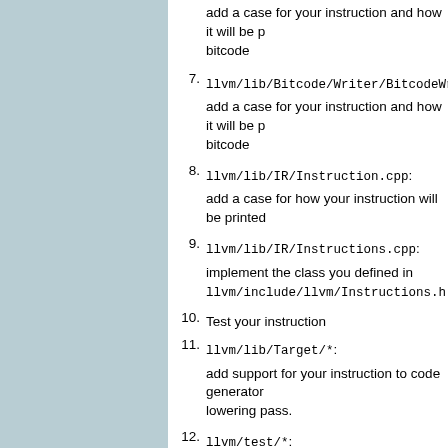add a case for your instruction and how it will be printed into bitcode
7. llvm/lib/Bitcode/Writer/BitcodeWriter.c
add a case for your instruction and how it will be printed into bitcode
8. llvm/lib/IR/Instruction.cpp:
add a case for how your instruction will be printed
9. llvm/lib/IR/Instructions.cpp:
implement the class you defined in llvm/include/llvm/Instructions.h
10. Test your instruction
11. llvm/lib/Target/*:
add support for your instruction to code generator or lowering pass.
12. llvm/test/*:
add your test cases to the test suite.